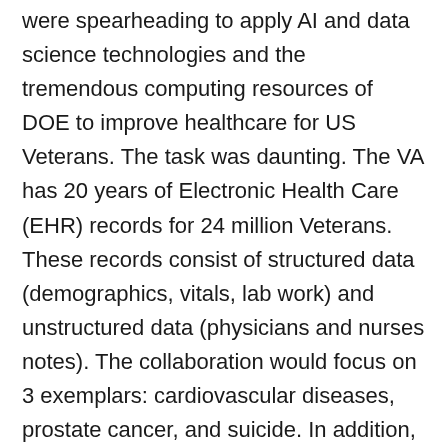were spearheading to apply AI and data science technologies and the tremendous computing resources of DOE to improve healthcare for US Veterans. The task was daunting. The VA has 20 years of Electronic Health Care (EHR) records for 24 million Veterans. These records consist of structured data (demographics, vitals, lab work) and unstructured data (physicians and nurses notes). The collaboration would focus on 3 exemplars: cardiovascular diseases, prostate cancer, and suicide. In addition, VA has genomic data for about 800K patients. Computational healthcare was a field that I did not know. We had been working on deep learning techniques but applied to proteins, not to EHR. I discuss this challenge with Prof...